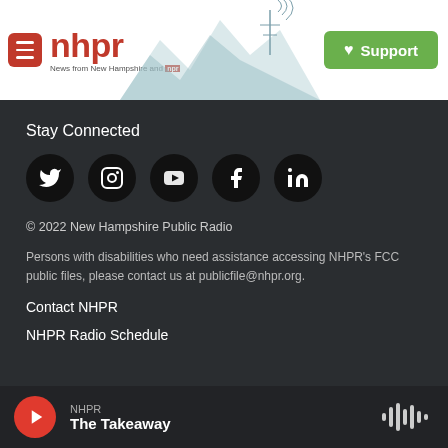[Figure (logo): NHPR (New Hampshire Public Radio) website header with hamburger menu icon, red NHPR logo text, mountain/radio tower illustration, and green Support button]
Stay Connected
[Figure (infographic): Row of five black circular social media icons: Twitter, Instagram, YouTube, Facebook, LinkedIn]
© 2022 New Hampshire Public Radio
Persons with disabilities who need assistance accessing NHPR's FCC public files, please contact us at publicfile@nhpr.org.
Contact NHPR
NHPR Radio Schedule
NHPR
The Takeaway